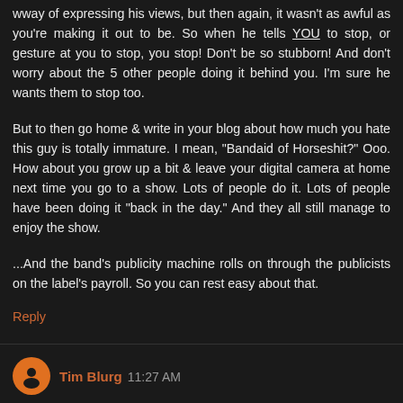wway of expressing his views, but then again, it wasn't as awful as you're making it out to be. So when he tells YOU to stop, or gesture at you to stop, you stop! Don't be so stubborn! And don't worry about the 5 other people doing it behind you. I'm sure he wants them to stop too.
But to then go home & write in your blog about how much you hate this guy is totally immature. I mean, "Bandaid of Horseshit?" Ooo. How about you grow up a bit & leave your digital camera at home next time you go to a show. Lots of people do it. Lots of people have been doing it "back in the day." And they all still manage to enjoy the show.
...And the band's publicity machine rolls on through the publicists on the label's payroll. So you can rest easy about that.
Reply
Tim Blurg  11:27 AM
the bottom line is, Ben's right about EVERYONE bringing